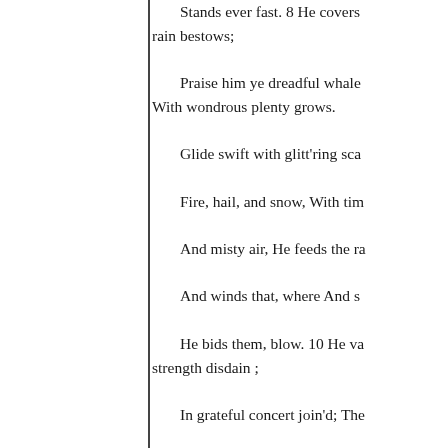Stands ever fast. 8 He covers
rain bestows;

Praise him ye dreadful whale
With wondrous plenty grows.

Glide swift with glitt'ring sca

Fire, hail, and snow, With tim

And misty air, He feeds the ra

And winds that, where And s

He bids them, blow. 10 He va
strength disdain ;

In grateful concert join'd; The

By cedars stately tall, No priz

And trees for fruit design'd; K

By every beast, His tender lo

And creeping thing, To him t

And fowl of wing, With stead

His name be blest. 12, 13 Let

11, 12 Let all of royal birth, T